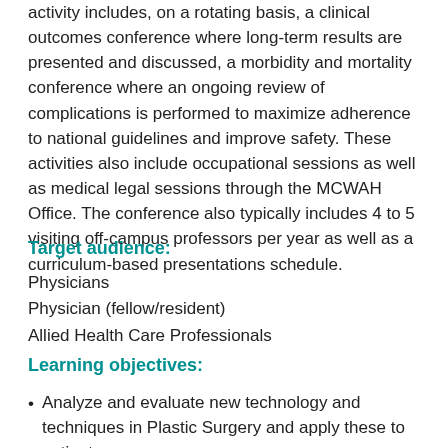activity includes, on a rotating basis, a clinical outcomes conference where long-term results are presented and discussed, a morbidity and mortality conference where an ongoing review of complications is performed to maximize adherence to national guidelines and improve safety. These activities also include occupational sessions as well as medical legal sessions through the MCWAH Office. The conference also typically includes 4 to 5 visiting off-campus professors per year as well as a curriculum-based presentations schedule.
Target audience:
Physicians
Physician (fellow/resident)
Allied Health Care Professionals
Learning objectives:
Analyze and evaluate new technology and techniques in Plastic Surgery and apply these to patient care.